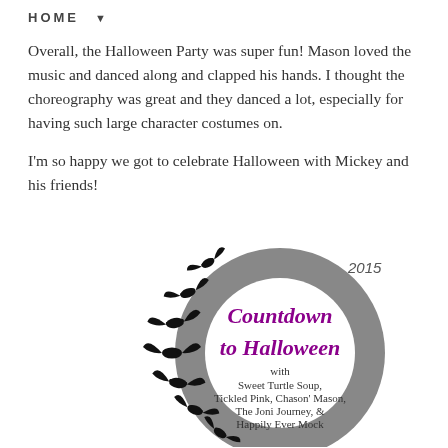HOME ▼
Overall, the Halloween Party was super fun! Mason loved the music and danced along and clapped his hands. I thought the choreography was great and they danced a lot, especially for having such large character costumes on.
I'm so happy we got to celebrate Halloween with Mickey and his friends!
[Figure (illustration): Circular badge/graphic for '2015 Countdown to Halloween' with a dark grey ring, black flying bats arranged along the left arc, and inside the circle: purple cursive text 'Countdown to Halloween', then smaller text 'with Sweet Turtle Soup, Tickled Pink, Chason' Mason, The Joni Journey, & Happily Ever Mock']